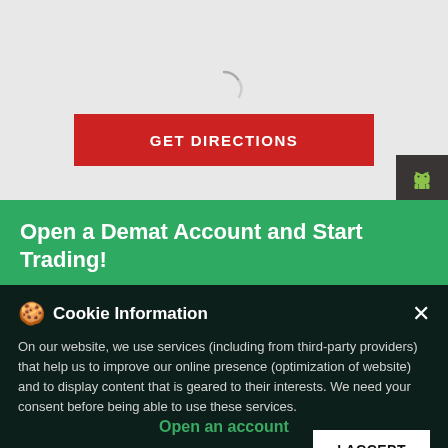[Figure (screenshot): Gray map loading area with spinner icon and 'Loading map...' text]
Loading map...
GET DIRECTIONS
[Figure (screenshot): Android app icon button on dark gray background]
[Figure (screenshot): Apple iOS app icon button on dark gray background]
Open a Demat Account and Start Trading!
Cookie Information
On our website, we use services (including from third-party providers) that help us to improve our online presence (optimization of website) and to display content that is geared to their interests. We need your consent before being able to use these services.
I ACCEPT
Open an account